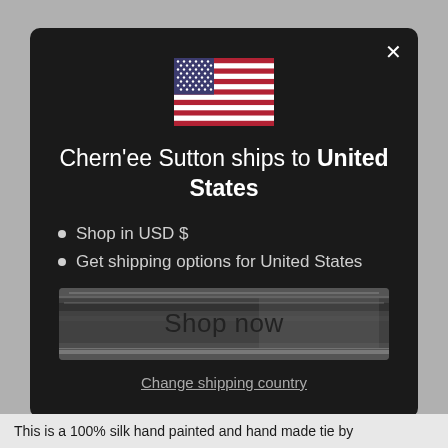[Figure (illustration): US flag emoji / icon displayed centered in the modal dialog]
Chern'ee Sutton ships to United States
Shop in USD $
Get shipping options for United States
[Figure (screenshot): Shop now button with brushstroke/painted dark background texture]
Change shipping country
This is a 100% silk hand painted and hand made tie by